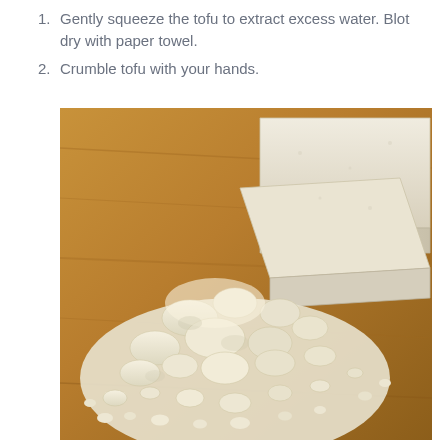Gently squeeze the tofu to extract excess water. Blot dry with paper towel.
Crumble tofu with your hands.
[Figure (photo): Photo of crumbled tofu on a wooden cutting board next to sliced firm tofu blocks in the background.]